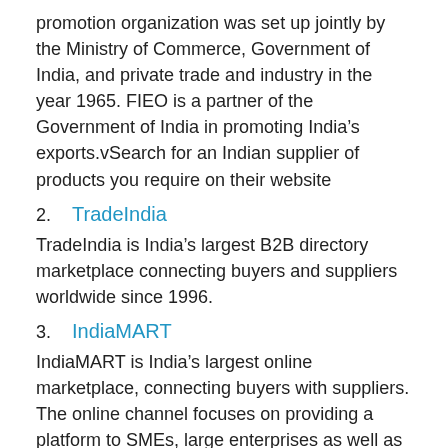promotion organization was set up jointly by the Ministry of Commerce, Government of India, and private trade and industry in the year 1965. FIEO is a partner of the Government of India in promoting India’s exports.vSearch for an Indian supplier of products you require on their website
2.	TradeIndia
TradeIndia is India’s largest B2B directory marketplace connecting buyers and suppliers worldwide since 1996.
3.	IndiaMART
IndiaMART is India’s largest online marketplace, connecting buyers with suppliers. The online channel focuses on providing a platform to SMEs, large enterprises as well as individuals.
Founded in 1996, the company’s mission is ‘to make doing business easy’.
4.	Indian Trade Portal